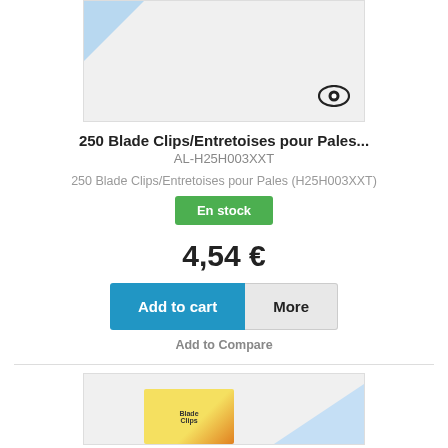[Figure (photo): Product image placeholder with light blue triangle in top-left corner and eye icon in bottom-right corner]
250 Blade Clips/Entretoises pour Pales...
AL-H25H003XXT
250 Blade Clips/Entretoises pour Pales (H25H003XXT)
En stock
4,54 €
Add to cart
More
Add to Compare
[Figure (photo): Second product image placeholder with product box and light blue triangle in bottom-right corner]